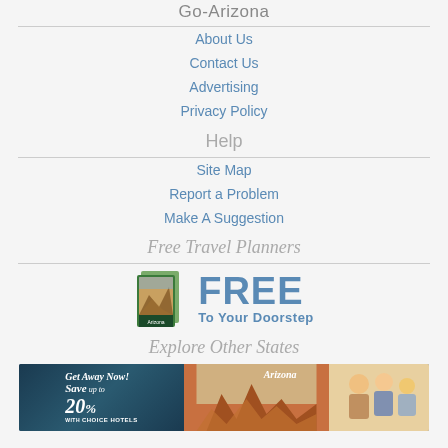Go-Arizona
About Us
Contact Us
Advertising
Privacy Policy
Help
Site Map
Report a Problem
Make A Suggestion
Free Travel Planners
[Figure (illustration): FREE To Your Doorstep travel planner books advertisement with book cover images]
Explore Other States
[Figure (illustration): Get Away Now! Save up to 20% with Choice Hotels Arizona banner advertisement]